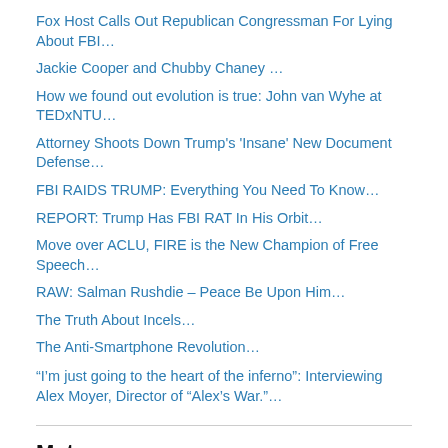Fox Host Calls Out Republican Congressman For Lying About FBI…
Jackie Cooper and Chubby Chaney …
How we found out evolution is true: John van Wyhe at TEDxNTU…
Attorney Shoots Down Trump's 'Insane' New Document Defense…
FBI RAIDS TRUMP: Everything You Need To Know…
REPORT: Trump Has FBI RAT In His Orbit…
Move over ACLU, FIRE is the New Champion of Free Speech…
RAW: Salman Rushdie – Peace Be Upon Him…
The Truth About Incels…
The Anti-Smartphone Revolution…
“I’m just going to the heart of the inferno”: Interviewing Alex Moyer, Director of “Alex’s War.”…
Meta
Register
Log in
Entries feed
Comments feed